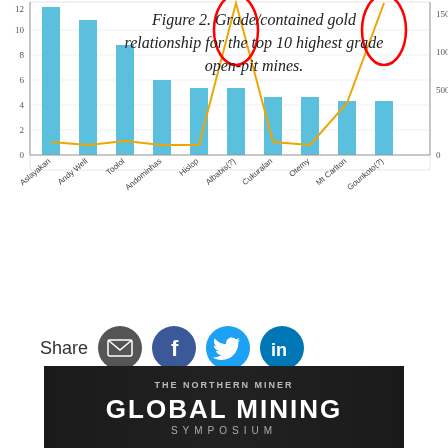[Figure (grouped-bar-chart): Grade/contained gold relationship for the top 10 highest grade open-pit mines]
Figure 2. Grade/contained gold relationship for the top 10 highest grade open-pit mines.
Share
[Figure (illustration): The Northern Miner - Global Mining Symposium banner advertisement with dark background showing mining equipment]